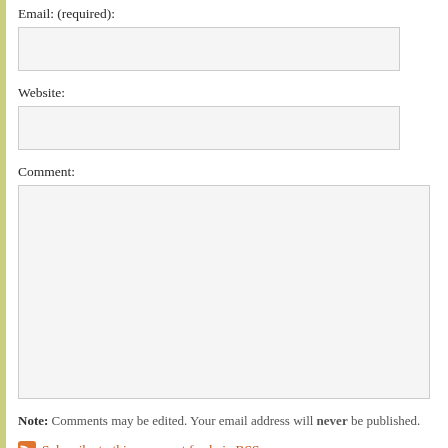Email: (required):
Website:
Comment:
Note: Comments may be edited. Your email address will never be published.
Subscribe to this comment feed via RSS